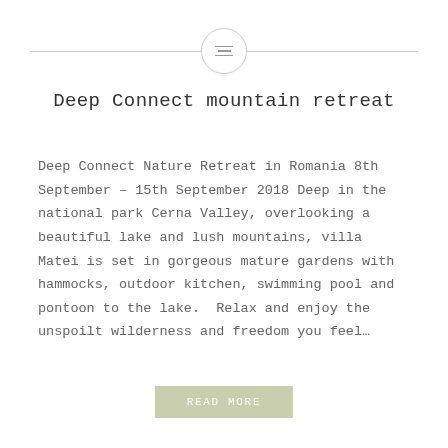≡
Deep Connect mountain retreat
Deep Connect Nature Retreat in Romania 8th September – 15th September 2018 Deep in the national park Cerna Valley, overlooking a beautiful lake and lush mountains, villa Matei is set in gorgeous mature gardens with hammocks, outdoor kitchen, swimming pool and pontoon to the lake.  Relax and enjoy the unspoilt wilderness and freedom you feel…
READ MORE